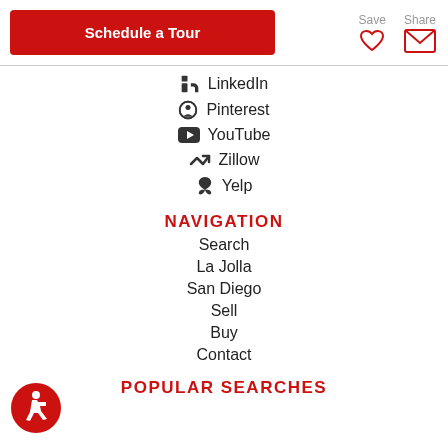Schedule a Tour
Save
Share
LinkedIn
Pinterest
YouTube
Zillow
Yelp
NAVIGATION
Search
La Jolla
San Diego
Sell
Buy
Contact
POPULAR SEARCHES
[Figure (illustration): Accessibility icon — red circle with wheelchair user symbol]